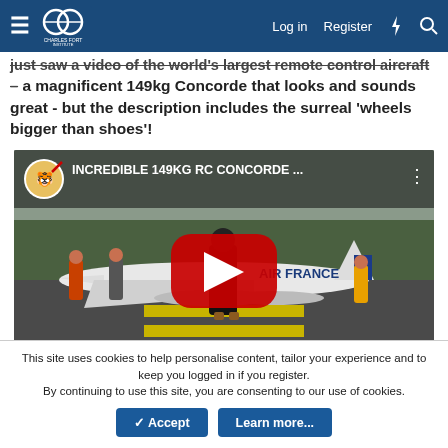Charles Fort Institute — Log in | Register
just saw a video of the world's largest remote control aircraft – a magnificent 149kg Concorde that looks and sounds great - but the description includes the surreal 'wheels bigger than shoes'!
[Figure (screenshot): YouTube video thumbnail showing a large RC Concorde model on a runway with 'AIR FRANCE' livery, with a person standing next to it for scale. Title overlay: 'INCREDIBLE 149KG RC CONCORDE ...']
This site uses cookies to help personalise content, tailor your experience and to keep you logged in if you register. By continuing to use this site, you are consenting to our use of cookies.